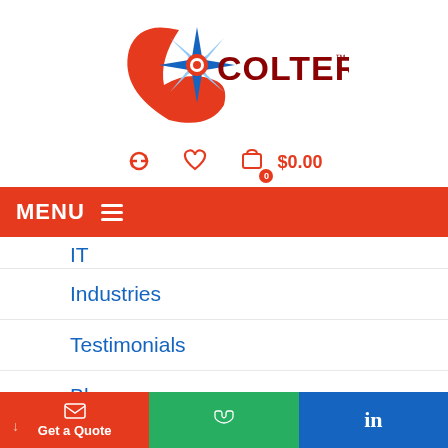[Figure (logo): Colterlec logo with red compass/phone graphic and dark red bold text COLTERLEC with TM mark]
↺  ♡  🛒 0  $0.00
MENU ☰
IT (partial)
Industries
Testimonials
Blog
Resources
Get a Quote
📞
in (LinkedIn)